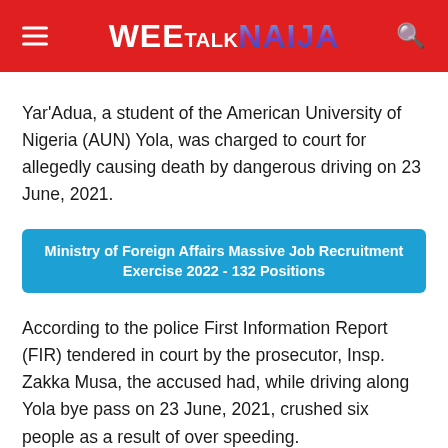WEE TALK NAIJA
Yar'Adua, a student of the American University of Nigeria (AUN) Yola, was charged to court for allegedly causing death by dangerous driving on 23 June, 2021.
Ministry of Foreign Affairs Massive Job Recruitment Exercise 2022 - 132 Positions
According to the police First Information Report (FIR) tendered in court by the prosecutor, Insp. Zakka Musa, the accused had, while driving along Yola bye pass on 23 June, 2021, crushed six people as a result of over speeding.